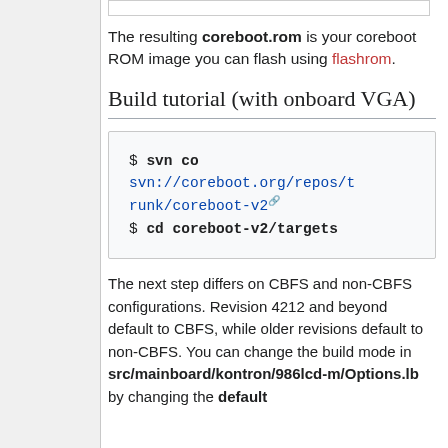The resulting coreboot.rom is your coreboot ROM image you can flash using flashrom.
Build tutorial (with onboard VGA)
$ svn co svn://coreboot.org/repos/trunk/coreboot-v2 $ cd coreboot-v2/targets
The next step differs on CBFS and non-CBFS configurations. Revision 4212 and beyond default to CBFS, while older revisions default to non-CBFS. You can change the build mode in src/mainboard/kontron/986lcd-m/Options.lb by changing the default